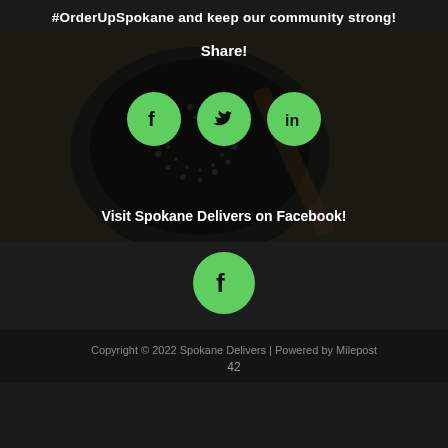#OrderUpSpokane and keep our community strong!
Share!
[Figure (photo): Dark food background with social media sharing icons (Facebook, Twitter, LinkedIn) in green circles]
Visit Spokane Delivers on Facebook!
[Figure (illustration): Green circle with Facebook icon]
Copyright © 2022 Spokane Delivers | Powered by Milepost
42